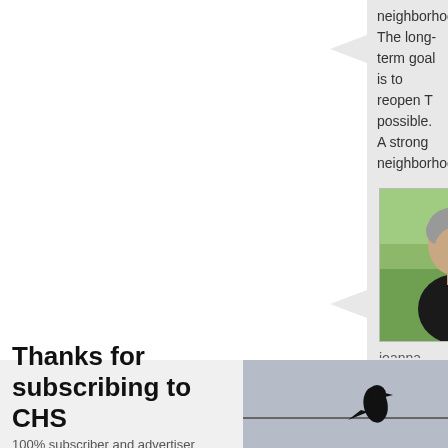neighborhood. The long-term goal is to reopen T possible. A strong neighborhood voice is needed
[Figure (photo): Profile photo of joanna - woman with short grey hair]
joanna on October 11, 2013 at 11:42 pm said:
I agree, Bill, let us do something positive for our
[Figure (photo): Profile photo of joanna - woman with short grey hair]
joanna on October 13, 2013 at 7:05 pm said:
Thanks for subscribing to CHS
100% subscriber and advertiser supported
[Figure (photo): Silhouette of a bird perched on a wire against a light background]